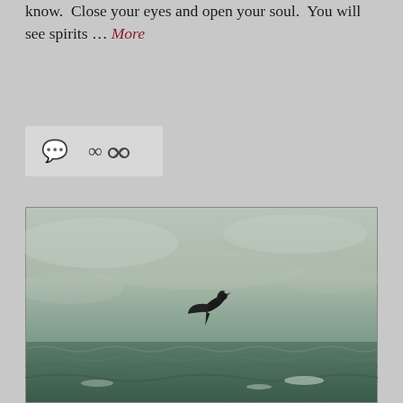know. Close your eyes and open your soul. You will see spirits … More
[Figure (other): Icon bar with comment bubble icon and chain/link icon on light gray background]
[Figure (photo): A dramatic dark bird (possibly a seagull or raptor) flying low over rough choppy ocean waves under an overcast gray-green sky]